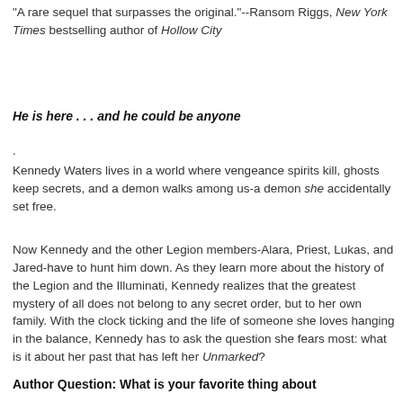"A rare sequel that surpasses the original."--Ransom Riggs, New York Times bestselling author of Hollow City
He is here . . . and he could be anyone
.
Kennedy Waters lives in a world where vengeance spirits kill, ghosts keep secrets, and a demon walks among us-a demon she accidentally set free.
Now Kennedy and the other Legion members-Alara, Priest, Lukas, and Jared-have to hunt him down. As they learn more about the history of the Legion and the Illuminati, Kennedy realizes that the greatest mystery of all does not belong to any secret order, but to her own family. With the clock ticking and the life of someone she loves hanging in the balance, Kennedy has to ask the question she fears most: what is it about her past that has left her Unmarked?
Author Question: What is your favorite thing about